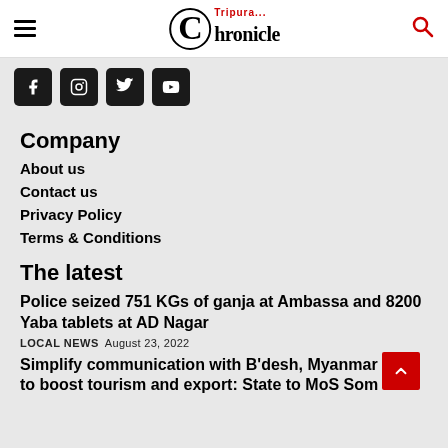Tripura Chronicle
[Figure (other): Social media icon buttons: Facebook, Instagram, Twitter, YouTube — black rounded square icons]
Company
About us
Contact us
Privacy Policy
Terms & Conditions
The latest
Police seized 751 KGs of ganja at Ambassa and 8200 Yaba tablets at AD Nagar
LOCAL NEWS  August 23, 2022
Simplify communication with B'desh, Myanmar to boost tourism and export: State to MoS Som